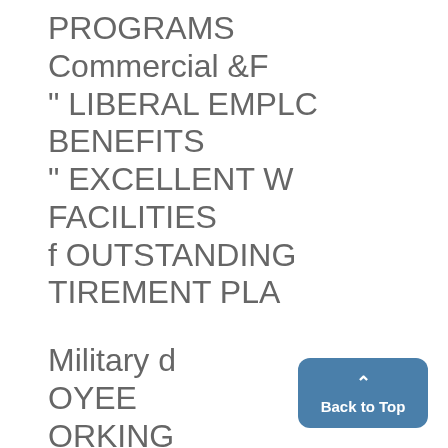PROGRAMS
Commercial &F
" LIBERAL EMPLC
BENEFITS
" EXCELLENT W
FACILITIES
f OUTSTANDING
TIREMENT PLA
Military d
OYEE
ORKING
RE-
N
Back to Top